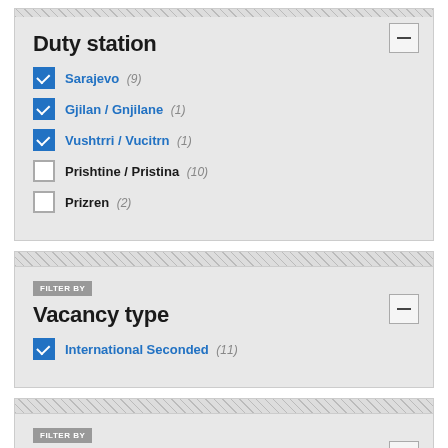Duty station
Sarajevo (9) [checked]
Gjilan / Gnjilane (1) [checked]
Vushtrri / Vucitrn (1) [checked]
Prishtine / Pristina (10) [unchecked]
Prizren (2) [unchecked]
FILTER BY
Vacancy type
International Seconded (11) [checked]
FILTER BY
Functional level